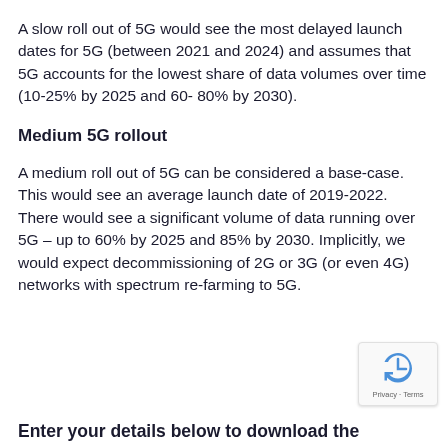A slow roll out of 5G would see the most delayed launch dates for 5G (between 2021 and 2024) and assumes that 5G accounts for the lowest share of data volumes over time (10-25% by 2025 and 60- 80% by 2030).
Medium 5G rollout
A medium roll out of 5G can be considered a base-case. This would see an average launch date of 2019-2022. There would see a significant volume of data running over 5G – up to 60% by 2025 and 85% by 2030. Implicitly, we would expect decommissioning of 2G or 3G (or even 4G) networks with spectrum re-farming to 5G.
Enter your details below to download the